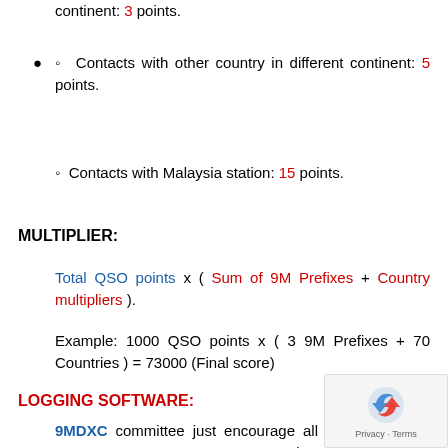continent: 3 points.
Contacts with other country in different continent: 5 points.
Contacts with Malaysia station: 15 points.
MULTIPLIER:
Total QSO points x ( Sum of 9M Prefixes + Country multipliers ).
Example: 1000 QSO points x ( 3 9M Prefixes + 70 Countries ) = 73000 (Final score)
LOGGING SOFTWARE:
9MDXC committee just encourage all entra use N1MM Logger. Yet, other software than N1MM